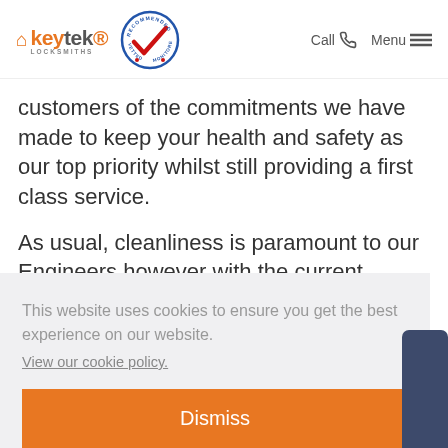keytek LOCKSMITHS — Recommended Vetted Monitored badge — Call | Menu
customers of the commitments we have made to keep your health and safety as our top priority whilst still providing a first class service.
As usual, cleanliness is paramount to our Engineers however with the current
This website uses cookies to ensure you get the best experience on our website.
View our cookie policy.
Dismiss